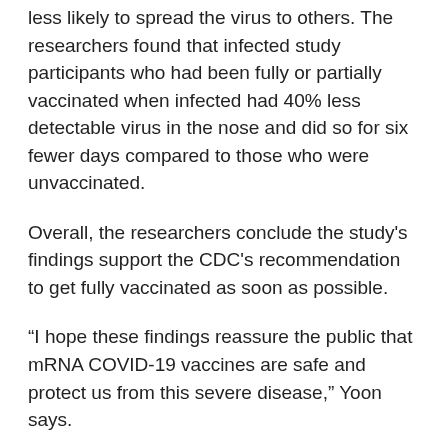less likely to spread the virus to others. The researchers found that infected study participants who had been fully or partially vaccinated when infected had 40% less detectable virus in the nose and did so for six fewer days compared to those who were unvaccinated.
Overall, the researchers conclude the study's findings support the CDC's recommendation to get fully vaccinated as soon as possible.
“I hope these findings reassure the public that mRNA COVID-19 vaccines are safe and protect us from this severe disease,” Yoon says.
The RECOVER study is ongoing, and results from future phases will help determine how long COVID-19 vaccines protect against infection and the real-world